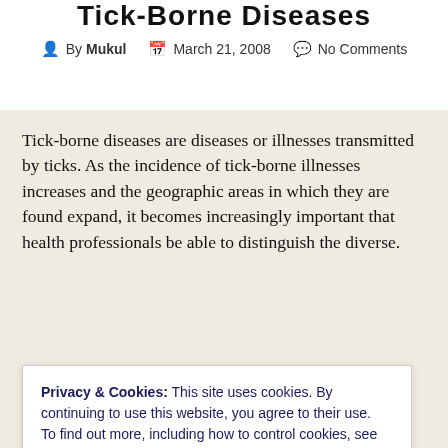Tick-Borne Diseases
By Mukul   March 21, 2008   No Comments
Tick-borne diseases are diseases or illnesses transmitted by ticks. As the incidence of tick-borne illnesses increases and the geographic areas in which they are found expand, it becomes increasingly important that health professionals be able to distinguish the diverse.
Privacy & Cookies: This site uses cookies. By continuing to use this website, you agree to their use. To find out more, including how to control cookies, see here: Cookie Policy
CLOSE AND ACCEPT
granulocytic ehrlichiosis